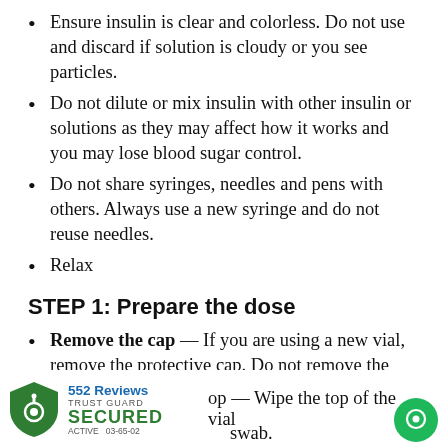Ensure insulin is clear and colorless. Do not use and discard if solution is cloudy or you see particles.
Do not dilute or mix insulin with other insulin or solutions as they may affect how it works and you may lose blood sugar control.
Do not share syringes, needles and pens with others. Always use a new syringe and do not reuse needles.
Relax
STEP 1: Prepare the dose
Remove the cap — If you are using a new vial, remove the protective cap. Do not remove the stopper.
[partial] op — Wipe the top of the vial [with an alcohol] swab.